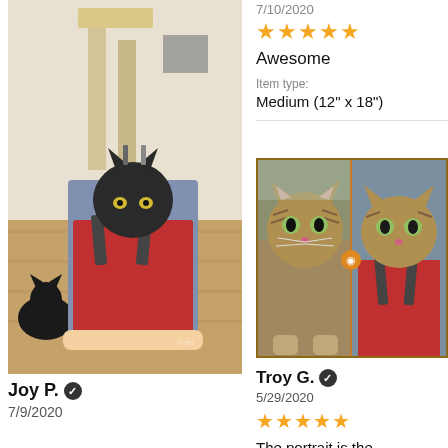[Figure (photo): Person holding a canvas print showing a black cat's face photoshopped onto Deadpool's body, with a real black cat visible in the background on a wooden floor]
Joy P. ✓
7/9/2020
7/10/2020
★★★★★
Awesome
Item type:
Medium (12" x 18")
[Figure (photo): Side-by-side comparison image showing a tabby cat photo on the left and a portrait of the same cat's face photoshopped onto Deadpool's body on the right, with an orange circle icon in the middle dividing the two]
Troy G. ✓
5/29/2020
★★★★★
The portrait is the splitting image of